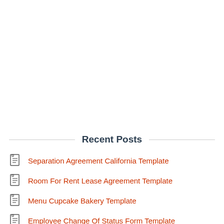Recent Posts
Separation Agreement California Template
Room For Rent Lease Agreement Template
Menu Cupcake Bakery Template
Employee Change Of Status Form Template